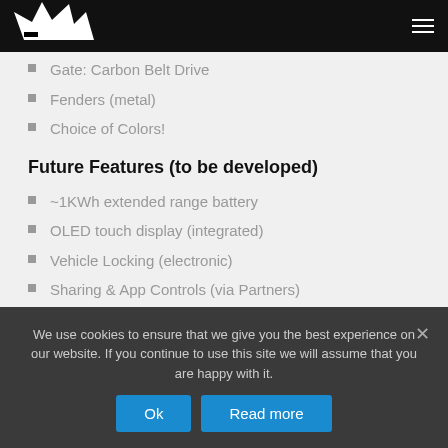Navigation bar with logo and menu icon
Gate: Carbon Belt Drive
Fenders (metal)
Choice of Colors!
Future Features (to be developed)
~1KWh extended range battery
OLED touch display (integrated)
Vehicle Locking (electronic)
Sharing & App Controls (via Partners)
We use cookies to ensure that we give you the best experience on our website. If you continue to use this site we will assume that you are happy with it.